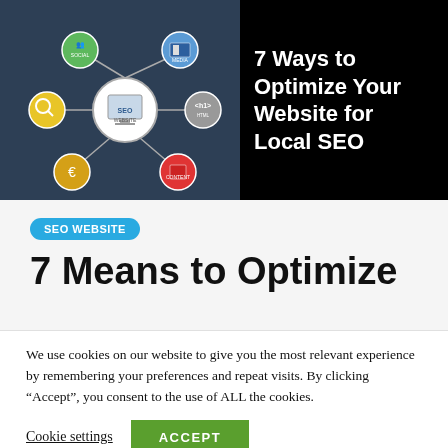[Figure (infographic): SEO website infographic split: left side shows a dark blue SEO network diagram with icons for social, media, HTML, euro/costs, and search connected to a central SEO monitor; right side is black background with white bold text reading '7 Ways to Optimize Your Website for Local SEO']
7 Ways to Optimize Your Website for Local SEO
SEO WEBSITE
7 Means to Optimize
We use cookies on our website to give you the most relevant experience by remembering your preferences and repeat visits. By clicking “Accept”, you consent to the use of ALL the cookies.